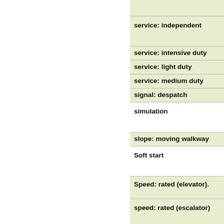service: independent
service: intensive duty
service: light duty
service: medium duty
signal: despatch
simulation
slope: moving walkway
Soft start
Speed: rated (elevator).
speed: rated (escalator)
speed: rated (moving walkway)
star delta starter